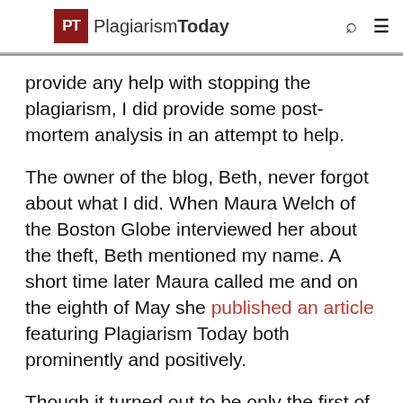PT PlagiarismToday
provide any help with stopping the plagiarism, I did provide some post-mortem analysis in an attempt to help.
The owner of the blog, Beth, never forgot about what I did. When Maura Welch of the Boston Globe interviewed her about the theft, Beth mentioned my name. A short time later Maura called me and on the eighth of May she published an article featuring Plagiarism Today both prominently and positively.
Though it turned out to be only the first of